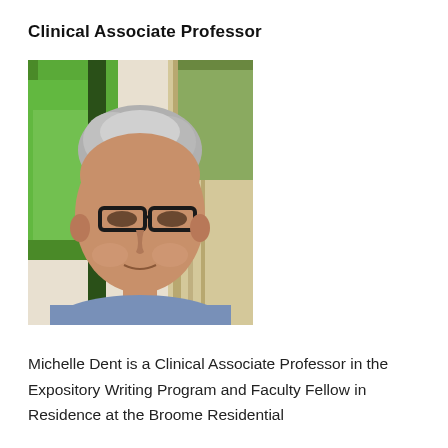Clinical Associate Professor
[Figure (photo): Headshot of Michelle Dent, a woman with short grey hair and black-rimmed glasses, wearing a blue shirt, photographed outdoors with green trees and a wooden structure in the background.]
Michelle Dent is a Clinical Associate Professor in the Expository Writing Program and Faculty Fellow in Residence at the Broome Residential